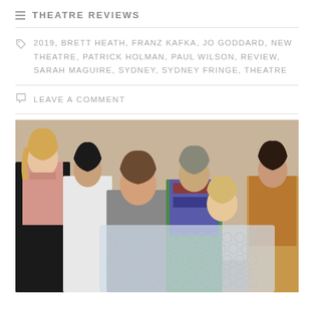THEATRE REVIEWS
2019, BRETT HEATH, FRANZ KAFKA, JO GODDARD, NEW THEATRE, PATRICK HOLMAN, PAUL WILSON, REVIEW, SARAH MAGUIRE, SYDNEY, SYDNEY FRINGE, THEATRE
LEAVE A COMMENT
[Figure (photo): Six theatre cast members posing for a promotional photo. From left: a blonde woman in a black jacket with pink top; a dark-haired man in a white top; a young man in a grey hoodie in the foreground; an older man in a colourful argyle vest; a blonde woman partially behind a large sheet of bubble wrap; and a dark-haired woman in a leopard print top on the far right. They are posed against a plain wall with the bubble wrap held across the front of the group.]